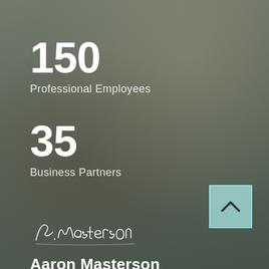150
Professional Employees
35
Business Partners
[Figure (illustration): Handwritten signature reading A. Masterson]
Aaron Masterson
CEO, MCR Construction